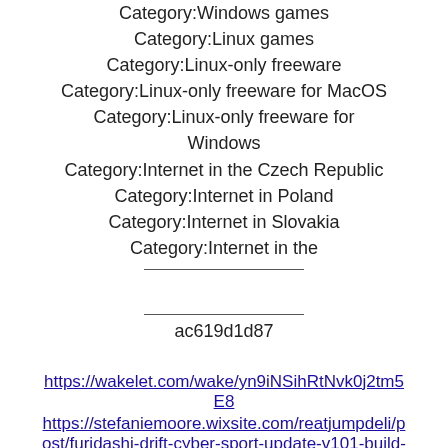Category:Windows games
Category:Linux games
Category:Linux-only freeware
Category:Linux-only freeware for MacOS
Category:Linux-only freeware for Windows
Category:Internet in the Czech Republic
Category:Internet in Poland
Category:Internet in Slovakia
Category:Internet in the
ac619d1d87
https://wakelet.com/wake/yn9iNSihRtNvk0j2tm5E8
https://stefaniemoore.wixsite.com/reatjumpdeli/post/furidashi-drift-cyber-sport-update-v101-build-21-incl-dlc-codex-